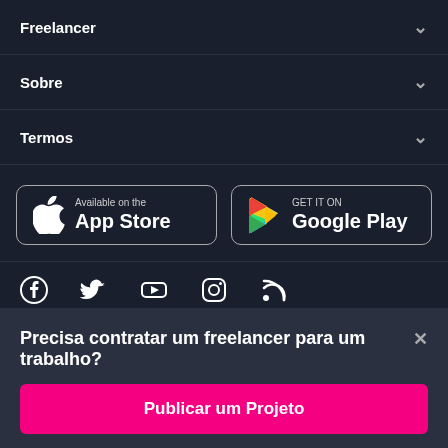Freelancer
Sobre
Termos
[Figure (other): App store badges: 'Available on the App Store' and 'GET IT ON Google Play']
[Figure (other): Social media icons: Facebook, Twitter, YouTube, Instagram, RSS]
Precisa contratar um freelancer para um trabalho?
Publicar um Projeto